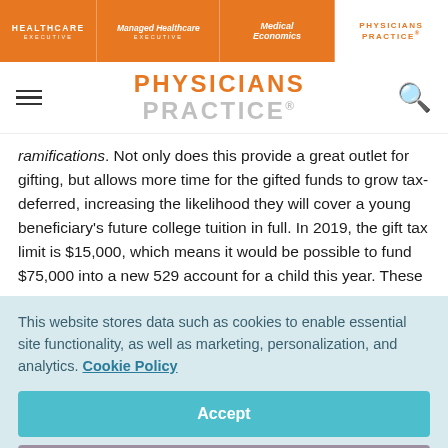HEALTHCARE EXECUTIVE | Managed Healthcare EXECUTIVE | Medical Economics | PHYSICIANS PRACTICE
[Figure (logo): Physicians Practice logo with orange text in page header navigation]
ramifications. Not only does this provide a great outlet for gifting, but allows more time for the gifted funds to grow tax-deferred, increasing the likelihood they will cover a young beneficiary's future college tuition in full. In 2019, the gift tax limit is $15,000, which means it would be possible to fund $75,000 into a new 529 account for a child this year. These
This website stores data such as cookies to enable essential site functionality, as well as marketing, personalization, and analytics. Cookie Policy
Accept
Deny